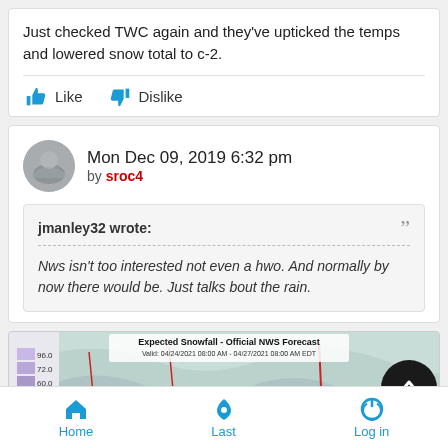Just checked TWC again and they've upticked the temps and lowered snow total to c-2.
Like   Dislike
Mon Dec 09, 2019 6:32 pm by sroc4
jmanley32 wrote: Nws isn't too interested not even a hwo. And normally by now there would be. Just talks bout the rain.
[Figure (map): Expected Snowfall - Official NWS Forecast. Valid: 04/24/2021 08:00 AM - 04/27/2021 08:00 AM EDT. Partial map view showing snowfall forecast.]
Home   Last   Log in